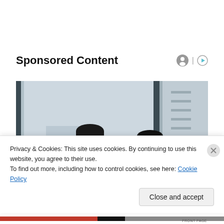Sponsored Content
[Figure (photo): Two businessmen in suits standing near large glass windows in an office setting, one smiling and looking down.]
Privacy & Cookies: This site uses cookies. By continuing to use this website, you agree to their use.
To find out more, including how to control cookies, see here: Cookie Policy
Close and accept